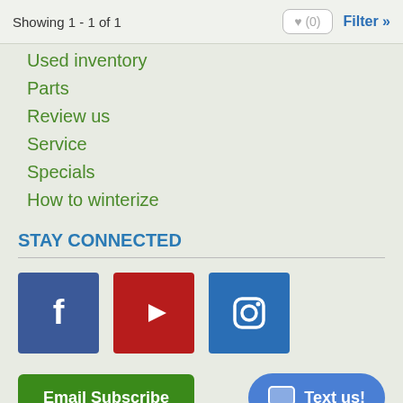Showing 1 - 1 of 1
♥ (0)
Filter »
Used inventory
Parts
Review us
Service
Specials
How to winterize
STAY CONNECTED
[Figure (logo): Facebook icon - blue square with white 'f' letter]
[Figure (logo): YouTube icon - red square with white play button triangle]
[Figure (logo): Instagram icon - blue square with white camera icon]
Email Subscribe
Text us!